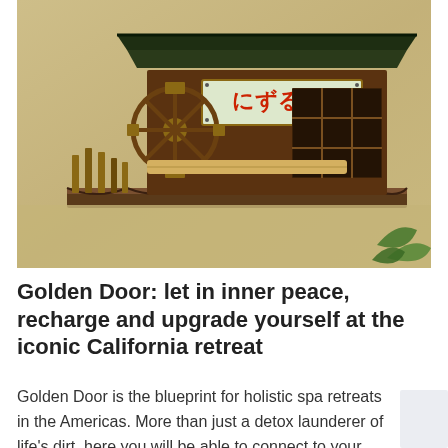[Figure (photo): A wooden decorative miniature Japanese-style building/mill model displayed on a shelf against a textured yellowish wall. The model features a waterwheel, wooden lattice panels, a sign with Japanese characters, and wooden posts. Green plant leaves are visible at bottom right.]
Golden Door: let in inner peace, recharge and upgrade yourself at the iconic California retreat
Golden Door is the blueprint for holistic spa retreats in the Americas. More than just a detox launderer of life's dirt, here you will be able to connect to your…